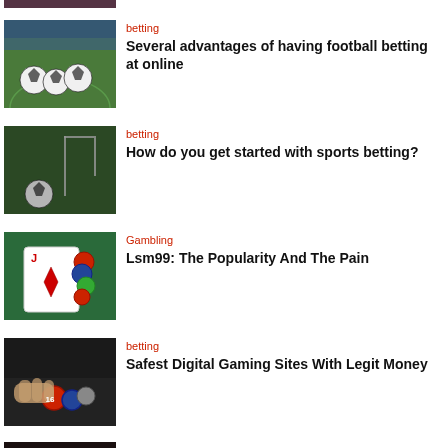[Figure (photo): Partial top image, cropped - appears to be a colorful gaming/entertainment scene]
[Figure (photo): Soccer balls on a grass field in a stadium]
betting
Several advantages of having football betting at online
[Figure (photo): Soccer ball near a goal post on a field]
betting
How do you get started with sports betting?
[Figure (photo): Playing cards and casino chips on a green table]
Gambling
Lsm99: The Popularity And The Pain
[Figure (photo): Hands placing casino chips on a gaming table]
betting
Safest Digital Gaming Sites With Legit Money
[Figure (photo): Partial bottom image - casino/gaming scene]
Casino